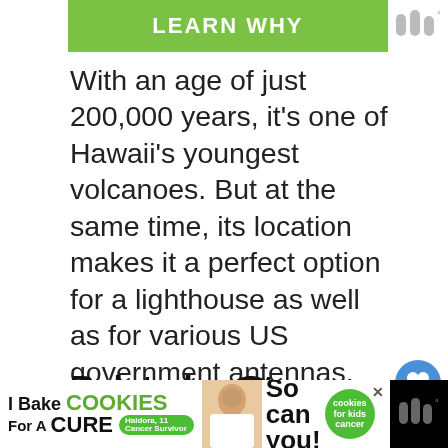[Figure (screenshot): Green 'LEARN WHY' button banner at top with logo to the right]
With an age of just 200,000 years, it's one of Hawaii's youngest volcanoes. But at the same time, its location makes it a perfect option for a lighthouse as well as for various US government antennas. Since its close to Honolulu resort hotels, the volcano is still partly accessible to tourists that come here out of curiosity.
[Figure (infographic): UI overlay with heart/like button (blue circle, count: 1) and share button]
[Figure (infographic): WHAT'S NEXT arrow with volcano thumbnail and text 'What is the Largest...']
Related posts:
[Figure (screenshot): Advertisement banner: 'I Bake COOKIES For A CURE' with Haldora badge, 'So can you!' text and cookies badge at bottom]